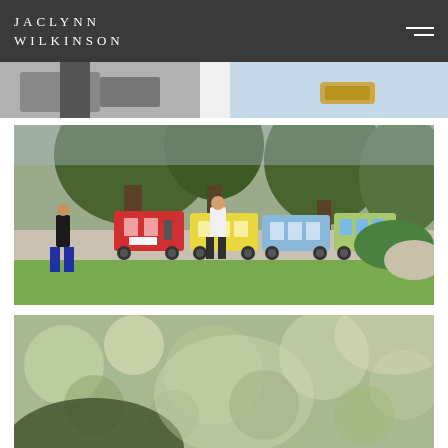JACLYNN WILKINSON
[Figure (photo): Partial top photo — appears to show a monochrome interior scene with a blue/light colored panel on the right and golden object]
[Figure (photo): Colorful miniature train being pushed through a green park with large trees; people are walking alongside; red, yellow, blue, green train cars visible]
[Figure (photo): Partial bottom photo — out-of-focus foliage/trees scene, bokeh effect, light and green tones]